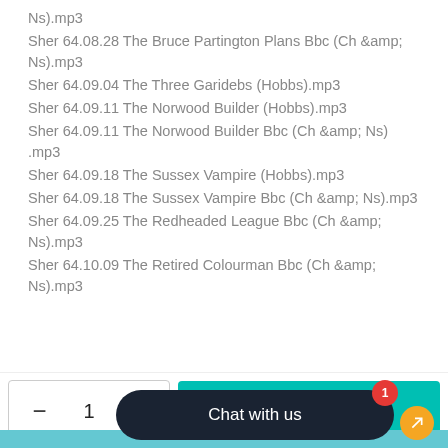Ns).mp3
Sher 64.08.28 The Bruce Partington Plans Bbc (Ch &amp;amp; Ns).mp3
Sher 64.09.04 The Three Garidebs (Hobbs).mp3
Sher 64.09.11 The Norwood Builder (Hobbs).mp3
Sher 64.09.11 The Norwood Builder Bbc (Ch &amp;amp; Ns) .mp3
Sher 64.09.18 The Sussex Vampire (Hobbs).mp3
Sher 64.09.18 The Sussex Vampire Bbc (Ch &amp;amp; Ns).mp3
Sher 64.09.25 The Redheaded League Bbc (Ch &amp;amp; Ns).mp3
Sher 64.10.09 The Retired Colourman Bbc (Ch &amp;amp; Ns).mp3
ADD TO CART
Chat with us
Subscribe now!